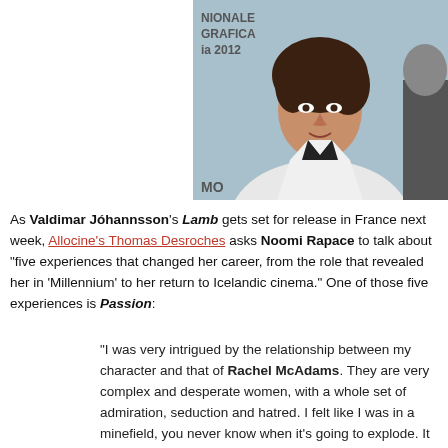[Figure (photo): Photo of a woman with curly dark hair wearing a white blazer and black top, at what appears to be a film festival. Background shows 'NIONALE GRAFICA ia 2012' text.]
As Valdimar Jóhannsson's Lamb gets set for release in France next week, Allocine's Thomas Desroches asks Noomi Rapace to talk about "five experiences that changed her career, from the role that revealed her in 'Millennium' to her return to Icelandic cinema." One of those five experiences is Passion:
"I was very intrigued by the relationship between my character and that of Rachel McAdams. They are very complex and desperate women, with a whole set of admiration, seduction and hatred. I felt like I was in a minefield, you never know when it's going to explode. It was a very